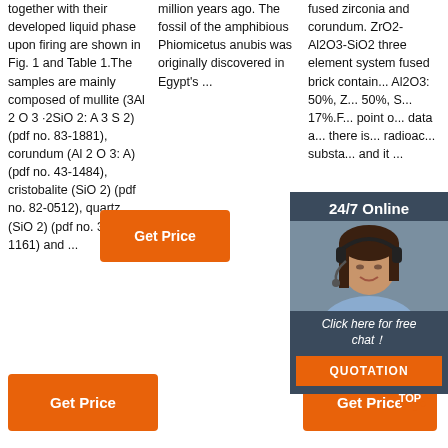together with their developed liquid phase upon firing are shown in Fig. 1 and Table 1.The samples are mainly composed of mullite (3Al 2 O 3 ·2SiO 2: A 3 S 2) (pdf no. 83-1881), corundum (Al 2 O 3: A) (pdf no. 43-1484), cristobalite (SiO 2) (pdf no. 82-0512), quartz (SiO 2) (pdf no. 33-1161) and ...
million years ago. The fossil of the amphibious Phiomicetus anubis was originally discovered in Egypt's ...
fused zirconia and corundum. ZrO2-Al2O3-SiO2 three element system fused brick containing Al2O3: 50%, ZrO2: 50%, SiO2: 17%.F... point of ... data a... there is ... radioactive ... substa... and it ...
[Figure (other): Orange 'Get Price' button in column 2]
[Figure (other): Chat overlay with '24/7 Online' header, photo of woman with headset, 'Click here for free chat!' message, and orange QUOTATION button]
[Figure (other): Orange 'Get Price' button in column 1 at bottom]
[Figure (other): Orange 'Get Price' button in column 3 at bottom with orange TOP icon]